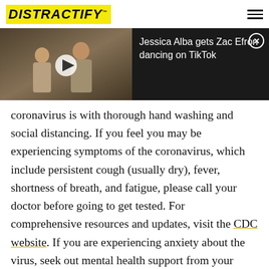DISTRACTIFY™
[Figure (screenshot): Video thumbnail showing two people in a light-colored indoor setting with a play button overlay, alongside a dark panel with text 'Jessica Alba gets Zac Efron dancing on TikTok' and a close button]
coronavirus is with thorough hand washing and social distancing. If you feel you may be experiencing symptoms of the coronavirus, which include persistent cough (usually dry), fever, shortness of breath, and fatigue, please call your doctor before going to get tested. For comprehensive resources and updates, visit the CDC website. If you are experiencing anxiety about the virus, seek out mental health support from your provider or visit NAMI.org.